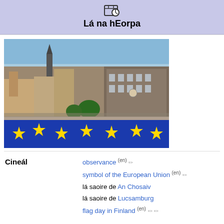Lá na hEorpa
[Figure (photo): Photo of Strasbourg city square with European Union flag spread out on the ground, with historic buildings in the background and blue sky above.]
| Cineál |  |
| --- | --- |
|  | observance (en) ✏ |
|  | symbol of the European Union (en) ✏ |
|  | lá saoire de An Chosaiv |
|  | lá saoire de Lucsamburg |
|  | flag day in Finland (en) ✏ ✏ |